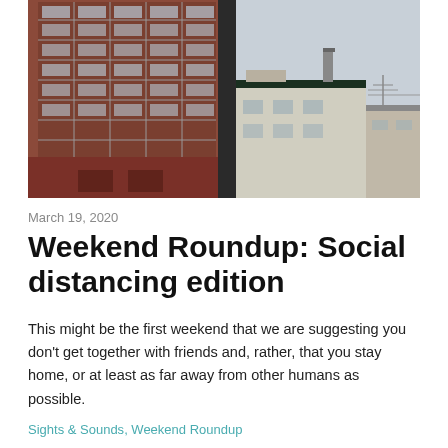[Figure (photo): View through a window of urban buildings: a tall brick high-rise apartment building with grid windows on the left, and lower flat-roofed commercial/residential buildings on the right against a grey sky.]
March 19, 2020
Weekend Roundup: Social distancing edition
This might be the first weekend that we are suggesting you don’t get together with friends and, rather, that you stay home, or at least as far away from other humans as possible.
Sights & Sounds, Weekend Roundup